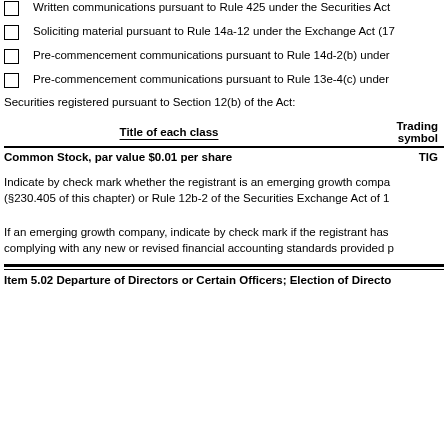Written communications pursuant to Rule 425 under the Securities Act
Soliciting material pursuant to Rule 14a-12 under the Exchange Act (17...
Pre-commencement communications pursuant to Rule 14d-2(b) under...
Pre-commencement communications pursuant to Rule 13e-4(c) under...
Securities registered pursuant to Section 12(b) of the Act:
| Title of each class | Trading symbol |
| --- | --- |
| Common Stock, par value $0.01 per share | TIG |
Indicate by check mark whether the registrant is an emerging growth company (§230.405 of this chapter) or Rule 12b-2 of the Securities Exchange Act of 1...
If an emerging growth company, indicate by check mark if the registrant has elected not to use the extended transition period for complying with any new or revised financial accounting standards provided p...
Item 5.02 Departure of Directors or Certain Officers; Election of Directors...